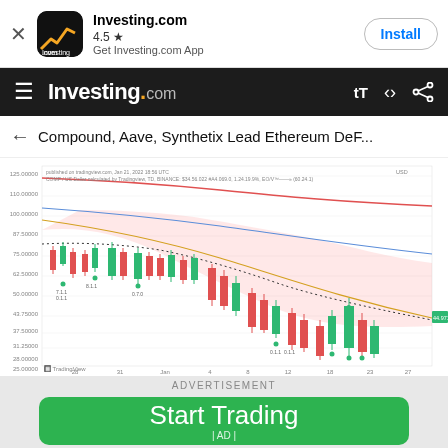[Figure (screenshot): App install banner for Investing.com with app icon, 4.5 star rating, and Install button]
Investing.com navigation bar with hamburger menu, logo, text size and share icons
Compound, Aave, Synthetix Lead Ethereum DeF...
[Figure (continuous-plot): TradingView candlestick chart showing COMP/US Dollar price declining from around 100 to 35-40 range, with red and teal candles, moving average lines (red, blue, yellow), Bollinger bands (pink shaded), and dotted line. X-axis shows dates from late December through late January. Y-axis shows price levels from about 25 to 125 USD.]
ADVERTISEMENT
[Figure (other): Start Trading button advertisement - green rounded rectangle with white text 'Start Trading' and '| AD |' label below]